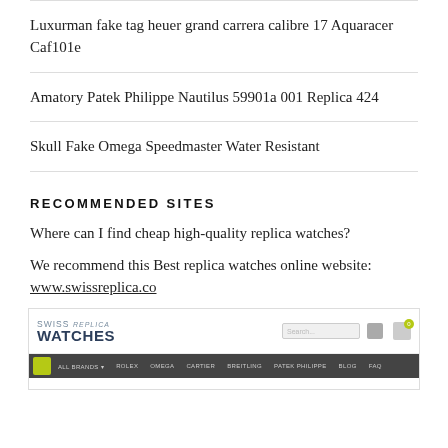Luxurman fake tag heuer grand carrera calibre 17 Aquaracer Caf101e
Amatory Patek Philippe Nautilus 59901a 001 Replica 424
Skull Fake Omega Speedmaster Water Resistant
RECOMMENDED SITES
Where can I find cheap high-quality replica watches?
We recommend this Best replica watches online website: www.swissreplica.co
[Figure (screenshot): Screenshot of Swiss Replica Watches website showing logo, search bar, and navigation menu with brand links including All Brands, Rolex, Omega, Cartier, Breitling, Patek Philippe, Blog, FAQ]